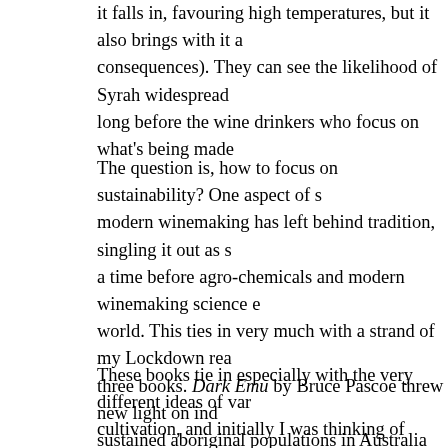it falls in, favouring high temperatures, but it also brings with it consequences). They can see the likelihood of Syrah widespread long before the wine drinkers who focus on what's being made
The question is, how to focus on sustainability? One aspect of s modern winemaking has left behind tradition, singling it out as s a time before agro-chemicals and modern winemaking science e world. This ties in very much with a strand of my Lockdown rea three books. Dark Emu by Bruce Pascoe threw new light on ind sustained aboriginal populations in Australia before the British t century. Braiding Sweetgrass is a very important book by Robin wealth of knowledge possessed by the native nations of North A obviously would be of significant use to today's ecologists and p which I'm sure many of you will know, is Wilding by Isabella T
These books tie in especially with the very different ideas of va cultivation, and initially I was thinking of writing about Masano Japanese farmer and philosopher and a proponent of natural farm no-till agriculture, which is being trialled on an ever-wider scale known as his "The One Straw Revolution" (1975, or was 1878?